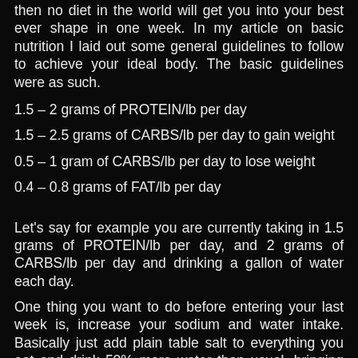then no diet in the world will get you into your best ever shape in one week. In my article on basic nutrition I laid out some general guidelines to follow to achieve your ideal body. The basic guidelines were as such.
1.5 – 2 grams of PROTEIN/lb per day
1.5 – 2.5 grams of CARBS/lb per day to gain weight
0.5 – 1 gram of CARBS/lb per day to lose weight
0.4 – 0.8 grams of FAT/lb per day
Let's say for example you are currently taking in 1.5 grams of PROTEIN/lb per day, and 2 grams of CARBS/lb per day and drinking a gallon of water each day.
One thing you want to do before entering your last week is, increase your sodium and water intake. Basically just add plain table salt to everything you eat and drink 50% more water than usual, bringing the total up to 1 ½ gallons per day. Increasing your sodium intake will increase water retention and reduce your aldosterone levels, which is the water retaining hormone.
On the first two days you want to reduce your carb